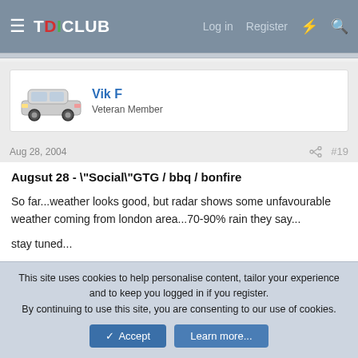TDICLUB — Log in  Register
Vik F
Veteran Member
Aug 28, 2004   #19
Augsut 28 - \"Social\"GTG / bbq / bonfire
So far...weather looks good, but radar shows some unfavourable weather coming from london area...70-90% rain they say...
stay tuned...
This site uses cookies to help personalise content, tailor your experience and to keep you logged in if you register.
By continuing to use this site, you are consenting to our use of cookies.